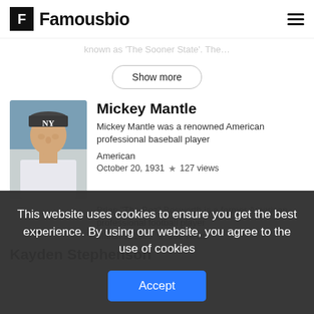Famousbio
known as 'The Sooner State'. The…
Show more
Mickey Mantle
Mickey Mantle was a renowned American professional baseball player
American
October 20, 1931 ★ 127 views
Brian "The Boz" Bosworth is a former American professional football player
March 9, 1965 ★ 102 views
Kayden Stephenson
This website uses cookies to ensure you get the best experience. By using our website, you agree to the use of cookies
Accept